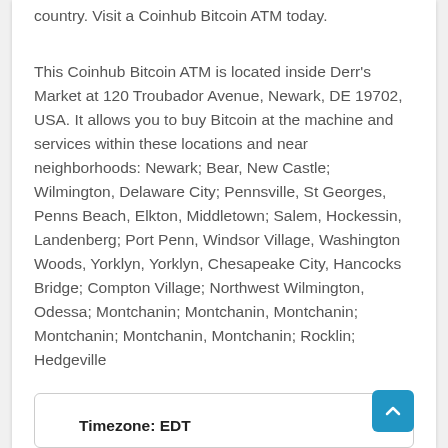country. Visit a Coinhub Bitcoin ATM today.
This Coinhub Bitcoin ATM is located inside Derr's Market at 120 Troubador Avenue, Newark, DE 19702, USA. It allows you to buy Bitcoin at the machine and services within these locations and near neighborhoods: Newark; Bear, New Castle; Wilmington, Delaware City; Pennsville, St Georges, Penns Beach, Elkton, Middletown; Salem, Hockessin, Landenberg; Port Penn, Windsor Village, Washington Woods, Yorklyn, Yorklyn, Chesapeake City, Hancocks Bridge; Compton Village; Northwest Wilmington, Odessa; Montchanin; Montchanin, Montchanin; Montchanin; Montchanin, Montchanin; Rocklin; Hedgeville
Timezone: EDT